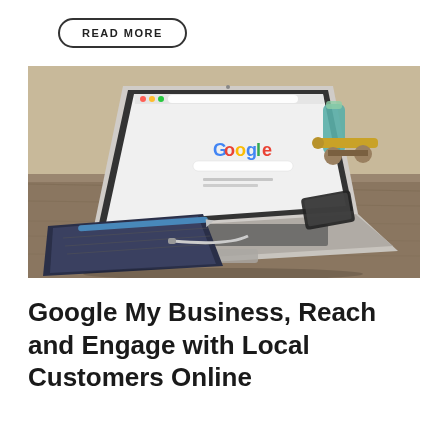READ MORE
[Figure (photo): A MacBook laptop open to the Google homepage, sitting on a wooden desk with a smartphone, a teal and gold decorative toy cannon, a notebook, and a pen. The laptop screen shows the Google search page.]
Google My Business, Reach and Engage with Local Customers Online